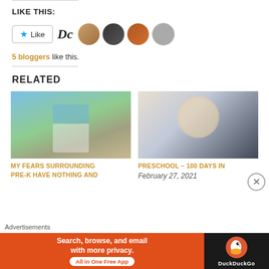LIKE THIS:
[Figure (infographic): Like button with star icon, followed by DC script text and 4 avatar photos of bloggers]
5 bloggers like this.
RELATED
[Figure (photo): Child walking on path with blue backpack]
MY FEARS SURROUNDING PRE-K HAVE NOTHING AND
[Figure (photo): Smiling young child in black and white raglan shirt]
PRESCHOOL – 100 DAYS IN
February 27, 2021
Advertisements
[Figure (infographic): DuckDuckGo advertisement banner: Search, browse, and email with more privacy. All in One Free App]